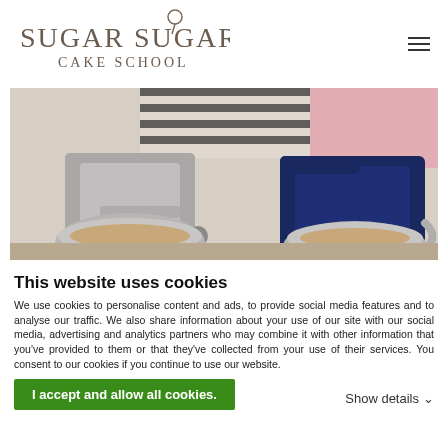SUGAR SUGAR CAKE SCHOOL
[Figure (photo): Two stand mixers (a silver Kenwood and a dark navy KitchenAid) with stainless steel mixing bowls on a light background, with a person in a black-and-white striped top and pink apron visible in the background.]
This website uses cookies
We use cookies to personalise content and ads, to provide social media features and to analyse our traffic. We also share information about your use of our site with our social media, advertising and analytics partners who may combine it with other information that you've provided to them or that they've collected from your use of their services. You consent to our cookies if you continue to use our website.
I accept and allow all cookies.
Show details